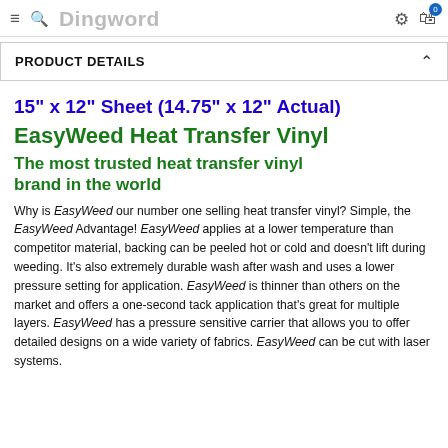Dingword
PRODUCT DETAILS
15" x 12" Sheet (14.75" x 12" Actual)
EasyWeed Heat Transfer Vinyl
The most trusted heat transfer vinyl brand in the world
Why is EasyWeed our number one selling heat transfer vinyl? Simple, the EasyWeed Advantage! EasyWeed applies at a lower temperature than competitor material, backing can be peeled hot or cold and doesn't lift during weeding. It's also extremely durable wash after wash and uses a lower pressure setting for application. EasyWeed is thinner than others on the market and offers a one-second tack application that's great for multiple layers. EasyWeed has a pressure sensitive carrier that allows you to offer detailed designs on a wide variety of fabrics. EasyWeed can be cut with laser systems.